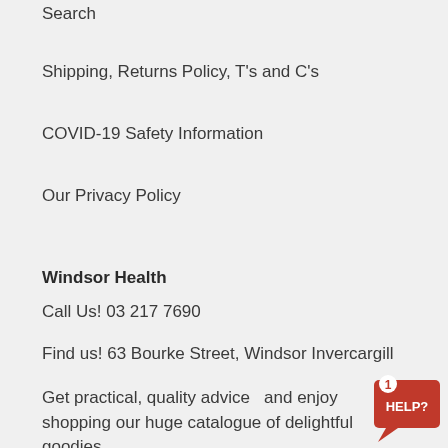Search
Shipping, Returns Policy, T's and C's
COVID-19 Safety Information
Our Privacy Policy
Windsor Health
Call Us! 03 217 7690
Find us! 63 Bourke Street, Windsor Invercargill
Get practical, quality advice  and enjoy shopping our huge catalogue of delightful goodies
[Figure (other): Red help widget button with notification badge showing '1' and text 'HELP?' in bottom right corner]